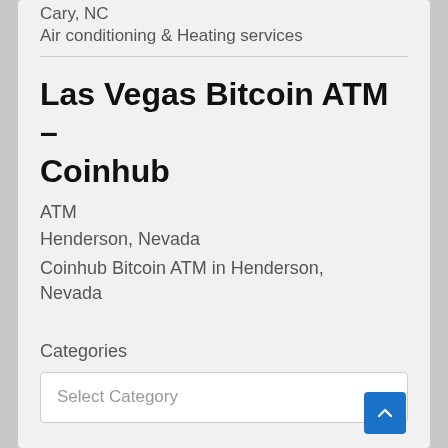Cary, NC
Air conditioning & Heating services
Las Vegas Bitcoin ATM – Coinhub
ATM
Henderson, Nevada
Coinhub Bitcoin ATM in Henderson, Nevada
Categories
Select Category